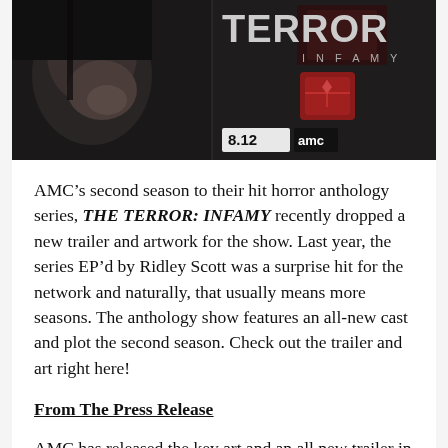[Figure (photo): The Terror: Infamy promotional banner image showing a dark-toned close-up of a person's face on the left and the show title 'THE TERROR INFAMY' in large text on the right with '8.12 amc' date and network logo]
AMC's second season to their hit horror anthology series, THE TERROR: INFAMY recently dropped a new trailer and artwork for the show. Last year, the series EP'd by Ridley Scott was a surprise hit for the network and naturally, that usually means more seasons. The anthology show features an all-new cast and plot the second season. Check out the trailer and art right here!
From The Press Release
AMC has released the key art and an all new trailer in anticipation of the upcoming Ridley Scott-produced anthology series, “The Terror: Infamy,” premiering Monday, August 12 at 9:00 p.m. ET/8:00 p.m. CT.
Featuring a cast and crew with deep-rooted